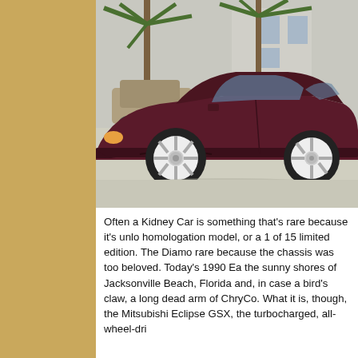[Figure (photo): Side profile photo of a dark maroon/burgundy 1990 Eagle Talon / Mitsubishi Eclipse GSX sports coupe parked on a street with palm trees and a residential building in the background. The car has distinctive 5-spoke white alloy wheels.]
Often a Kidney Car is something that's rare because it's unlo homologation model, or a 1 of 15 limited edition. The Diamo rare because the chassis was too beloved. Today's 1990 Ea the sunny shores of Jacksonville Beach, Florida and, in case a bird's claw, a long dead arm of ChryCo. What it is, though, the Mitsubishi Eclipse GSX, the turbocharged, all-wheel-dri